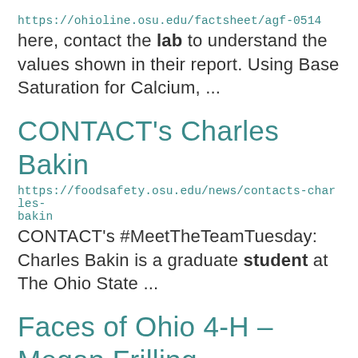https://ohioline.osu.edu/factsheet/agf-0514 here, contact the lab to understand the values shown in their report. Using Base Saturation for Calcium, ...
CONTACT's Charles Bakin
https://foodsafety.osu.edu/news/contacts-charles-bakin
CONTACT's #MeetTheTeamTuesday: Charles Bakin is a graduate student at The Ohio State ...
Faces of Ohio 4-H – Megan Frilling
https://ohio4h.org/july-2022/faces-ohio-4-h-%E2%80%93-megan-frilling